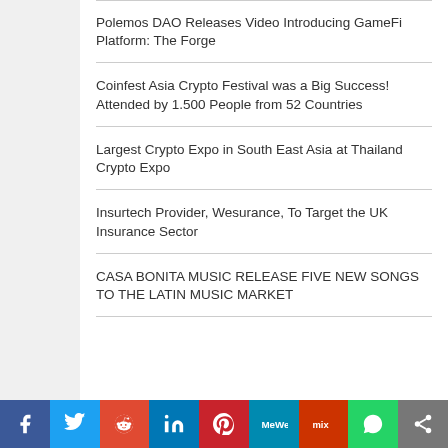Polemos DAO Releases Video Introducing GameFi Platform: The Forge
Coinfest Asia Crypto Festival was a Big Success! Attended by 1.500 People from 52 Countries
Largest Crypto Expo in South East Asia at Thailand Crypto Expo
Insurtech Provider, Wesurance, To Target the UK Insurance Sector
CASA BONITA MUSIC RELEASE FIVE NEW SONGS TO THE LATIN MUSIC MARKET